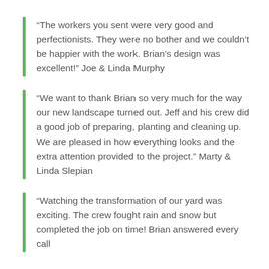“The workers you sent were very good and perfectionists. They were no bother and we couldn’t be happier with the work. Brian’s design was excellent!” Joe & Linda Murphy
“We want to thank Brian so very much for the way our new landscape turned out. Jeff and his crew did a good job of preparing, planting and cleaning up. We are pleased in how everything looks and the extra attention provided to the project.” Marty & Linda Slepian
“Watching the transformation of our yard was exciting. The crew fought rain and snow but completed the job on time! Brian answered every call